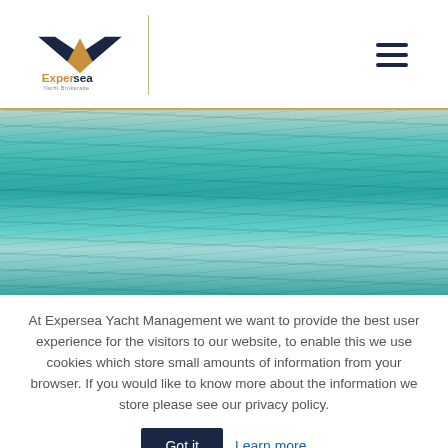[Figure (logo): Expersea Yacht Brokerage logo — gold and navy V-shape bird/wave mark above text 'Expersea' in orange/gold and 'Yacht Brokerage' in grey]
[Figure (photo): Aerial or close-up view of turquoise and teal ocean water surface with wave patterns, used as a hero banner image]
At Expersea Yacht Management we want to provide the best user experience for the visitors to our website, to enable this we use cookies which store small amounts of information from your browser. If you would like to know more about the information we store please see our privacy policy.
Got it
Learn more